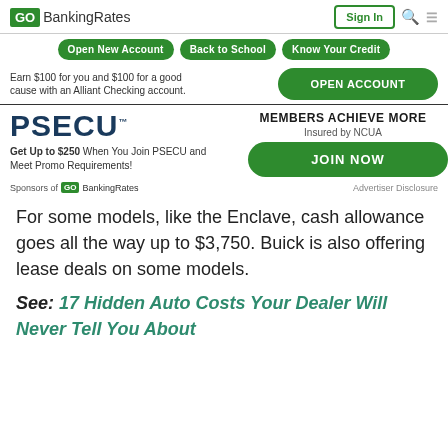GOBankingRates | Sign In
Open New Account | Back to School | Know Your Credit
Earn $100 for you and $100 for a good cause with an Alliant Checking account. OPEN ACCOUNT
[Figure (other): PSECU advertisement: PSECU logo, 'MEMBERS ACHIEVE MORE', 'Insured by NCUA', 'Get Up to $250 When You Join PSECU and Meet Promo Requirements!', JOIN NOW button]
Sponsors of GOBankingRates | Advertiser Disclosure
For some models, like the Enclave, cash allowance goes all the way up to $3,750. Buick is also offering lease deals on some models.
See: 17 Hidden Auto Costs Your Dealer Will Never Tell You About